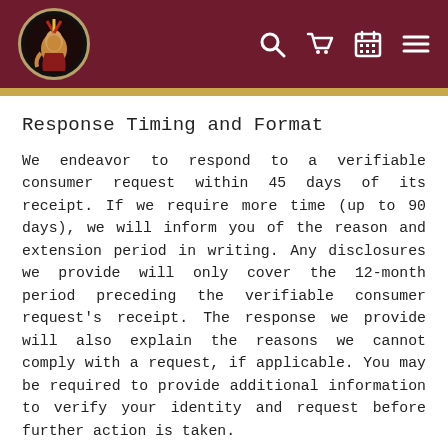FSU logo and navigation icons (search, cart, calendar, menu)
Response Timing and Format
We endeavor to respond to a verifiable consumer request within 45 days of its receipt. If we require more time (up to 90 days), we will inform you of the reason and extension period in writing. Any disclosures we provide will only cover the 12-month period preceding the verifiable consumer request's receipt. The response we provide will also explain the reasons we cannot comply with a request, if applicable. You may be required to provide additional information to verify your identity and request before further action is taken.